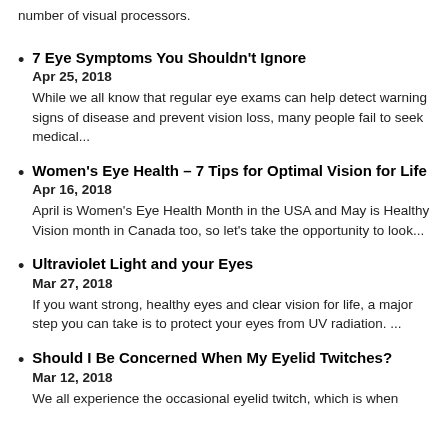number of visual processors.
7 Eye Symptoms You Shouldn't Ignore
Apr 25, 2018
While we all know that regular eye exams can help detect warning signs of disease and prevent vision loss, many people fail to seek medical...
Women's Eye Health – 7 Tips for Optimal Vision for Life
Apr 16, 2018
April is Women's Eye Health Month in the USA and May is Healthy Vision month in Canada too, so let's take the opportunity to look...
Ultraviolet Light and your Eyes
Mar 27, 2018
If you want strong, healthy eyes and clear vision for life, a major step you can take is to protect your eyes from UV radiation. ...
Should I Be Concerned When My Eyelid Twitches?
Mar 12, 2018
We all experience the occasional eyelid twitch, which is when